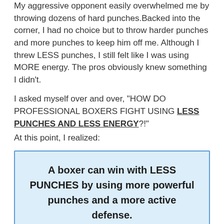My aggressive opponent easily overwhelmed me by throwing dozens of hard punches. Backed into the corner, I had no choice but to throw harder punches and more punches to keep him off me. Although I threw LESS punches, I still felt like I was using MORE energy. The pros obviously knew something I didn't.
I asked myself over and over, “HOW DO PROFESSIONAL BOXERS FIGHT USING LESS PUNCHES AND LESS ENERGY?!”
At this point, I realized:
A boxer can win with LESS PUNCHES by using more powerful punches and a more active defense.